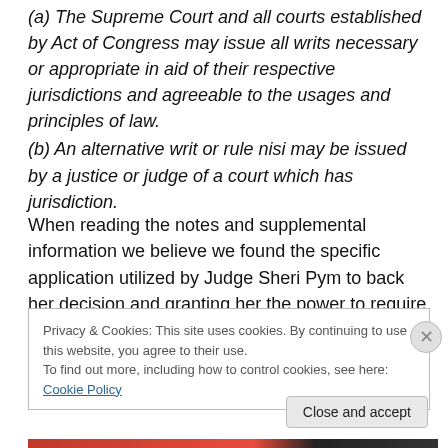(a) The Supreme Court and all courts established by Act of Congress may issue all writs necessary or appropriate in aid of their respective jurisdictions and agreeable to the usages and principles of law. (b) An alternative writ or rule nisi may be issued by a justice or judge of a court which has jurisdiction.
When reading the notes and supplemental information we believe we found the specific application utilized by Judge Sheri Pym to back her decision and granting her the power to require Apple to comply. It reads as follows:
Privacy & Cookies: This site uses cookies. By continuing to use this website, you agree to their use. To find out more, including how to control cookies, see here: Cookie Policy